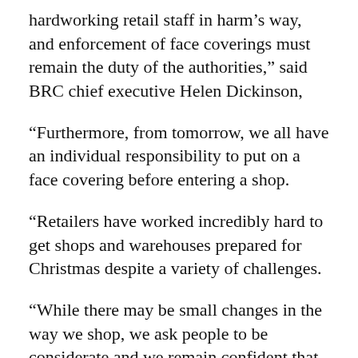hardworking retail staff in harm’s way, and enforcement of face coverings must remain the duty of the authorities,” said BRC chief executive Helen Dickinson,
“Furthermore, from tomorrow, we all have an individual responsibility to put on a face covering before entering a shop.
“Retailers have worked incredibly hard to get shops and warehouses prepared for Christmas despite a variety of challenges.
“While there may be small changes in the way we shop, we ask people to be considerate and we remain confident that everyone can get what